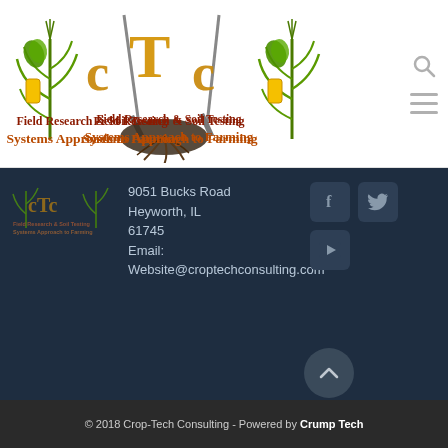[Figure (logo): CTC (Crop-Tech Consulting) logo with corn plants, soil testing tools, 'cTc' text in gold/orange, 'Field Research & Soil Testing' in dark red, 'Systems Approach to Farming' in dark orange/brown serif font]
[Figure (logo): Small CTC logo repeated in footer area, partially visible]
9051 Bucks Road
Heyworth, IL 61745
Email:
Website@croptechconsulting.com
[Figure (infographic): Social media icons: Facebook (f), Twitter (bird), YouTube (play button) in rounded square grey buttons]
© 2018 Crop-Tech Consulting - Powered by Crump Tech